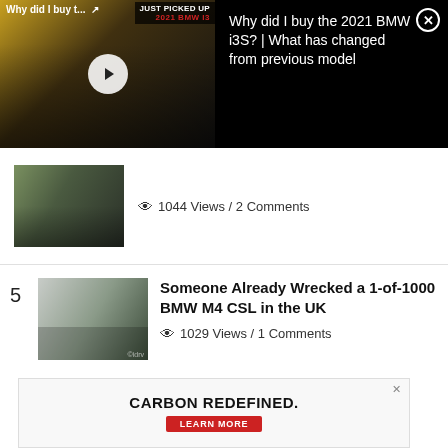[Figure (screenshot): Video thumbnail of 2021 BMW i3S in gold/black with play button overlay. Top-left shows 'Why did I buy t...' with share icon. Top-right shows 'JUST PICKED UP' and '2021 BMW I3' in red text.]
Why did I buy the 2021 BMW i3S? | What has changed from previous model
[Figure (photo): Thumbnail photo of a dark BMW iX from the front, parked outdoors.]
1044 Views / 2 Comments
5
[Figure (photo): Thumbnail photo of a white BMW M4 CSL parked on a street.]
Someone Already Wrecked a 1-of-1000 BMW M4 CSL in the UK
1029 Views / 1 Comments
[Figure (screenshot): Advertisement banner: CARBON REDEFINED. with a red LEARN MORE button and a partial image of a car top view.]